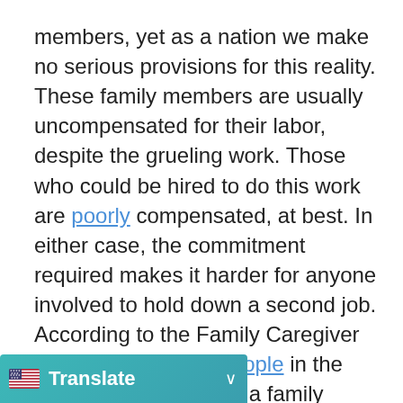members, yet as a nation we make no serious provisions for this reality. These family members are usually uncompensated for their labor, despite the grueling work. Those who could be hired to do this work are poorly compensated, at best. In either case, the commitment required makes it harder for anyone involved to hold down a second job. According to the Family Caregiver Alliance, 65 million people in the United States care for a family member; the estimated lost lifetime income and benefits for these people is over $300,000 each. It is a privilege of the rich to be able to pay someone else to care for their parents.
Understandably, most elderly people prefer to stay at home instead of moving to a nursing home. Medicaid is required to pay for institutional care like nursing [home care for low-in]come people, but states [have latitude in d]eciding how to cover home-
[Figure (infographic): A browser translate toolbar widget showing a US flag icon and the text 'Translate' with a dropdown chevron, displayed in teal/cyan color at the bottom left of the page.]